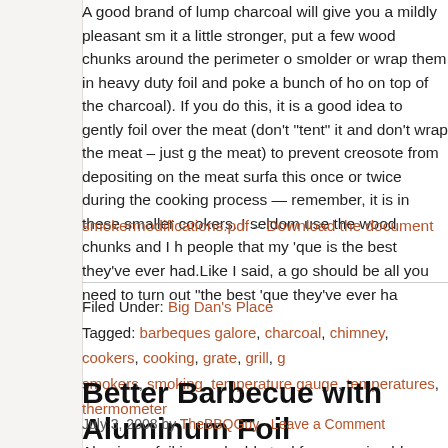A good brand of lump charcoal will give you a mildly pleasant sm it a little stronger, put a few wood chunks around the perimeter smolder or wrap them in heavy duty foil and poke a bunch of ho on top of the charcoal). If you do this, it is a good idea to gently foil over the meat (don't "tent" it and don't wrap the meat – just g the meat) to prevent creosote from depositing on the meat surfa this once or twice during the cooking process — remember, it is in these smaller cookers. I seldom use the wood chunks and I h people that my 'que is the best they've ever had.Like I said, a go should be all you need to turn out "the best 'que they've ever ha
smokermodifications.pdf – Download the document
Filed Under: Big Dan's Place
Tagged: barbeques galore, charcoal, chimney, cookers, cooking, grate, grill, g smokers, smoking, temperature gauge, temperatures, thermometer
Better Barbecue with Aluminum Foil
July 3, 2008 by TheBBQGuy · Leave a Comment
Aluminum foil is a valuable tool for preparing bbq ribs, pork butts, and brisket.